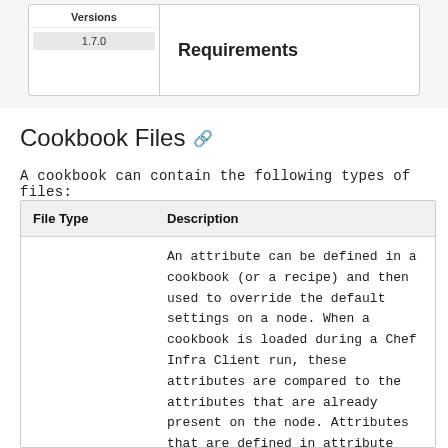[Figure (screenshot): A UI panel showing a Versions column with value '1.7.0' and a Requirements header panel.]
Cookbook Files
A cookbook can contain the following types of files:
| File Type | Description |
| --- | --- |
| Attributes | An attribute can be defined in a cookbook (or a recipe) and then used to override the default settings on a node. When a cookbook is loaded during a Chef Infra Client run, these attributes are compared to the attributes that are already present on the node. Attributes that are defined in attribute files are first loaded according to cookbook order. For each cookbook, attributes in |